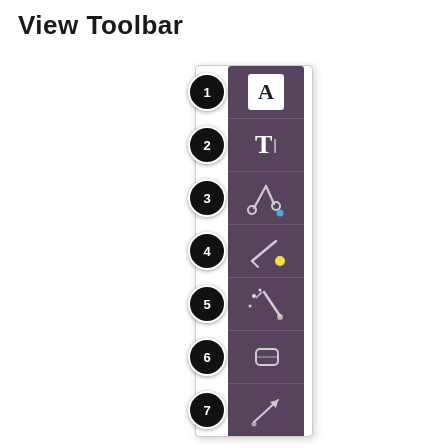View Toolbar
[Figure (screenshot): A vertical toolbar UI component showing 7 numbered items. The toolbar has a dark purple/mauve background strip with white icons: 1) Letter A in white box (font/text tool), 2) Bold T with cursor (text tool), 3) Scissors/pin tool with blue dot, 4) Angled tool with yellow dot, 5) Magic wand/sparkle tool, 6) Eraser tool, 7) Arrow/line tool. Each item has a black numbered circle badge overlapping the left edge.]